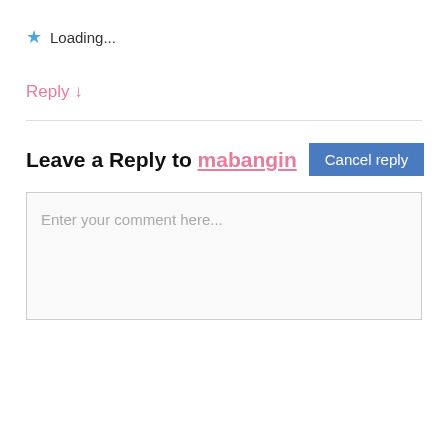★ Loading...
Reply ↓
Leave a Reply to mabangin  Cancel reply
Enter your comment here...